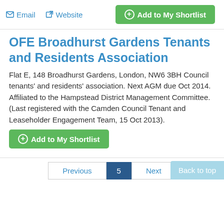Email  Website  + Add to My Shortlist
OFE Broadhurst Gardens Tenants and Residents Association
Flat E, 148 Broadhurst Gardens, London, NW6 3BH Council tenants' and residents' association. Next AGM due Oct 2014. Affiliated to the Hampstead District Management Committee. (Last registered with the Camden Council Tenant and Leaseholder Engagement Team, 15 Oct 2013).
+ Add to My Shortlist
Previous  5  Next  Back to top